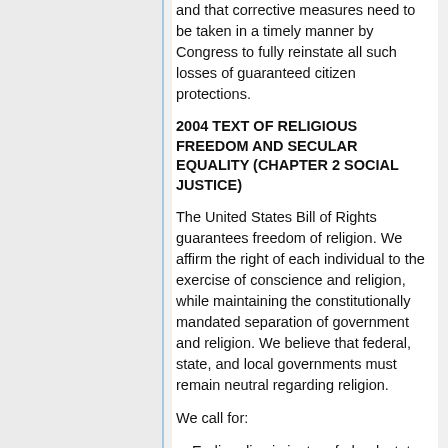and that corrective measures need to be taken in a timely manner by Congress to fully reinstate all such losses of guaranteed citizen protections.
2004 TEXT OF RELIGIOUS FREEDOM AND SECULAR EQUALITY (CHAPTER 2 SOCIAL JUSTICE)
The United States Bill of Rights guarantees freedom of religion. We affirm the right of each individual to the exercise of conscience and religion, while maintaining the constitutionally mandated separation of government and religion. We believe that federal, state, and local governments must remain neutral regarding religion.
We call for:
a. Ending discriminatory federal, state, and local laws against particular religious beliefs or unbelief. The U.S...